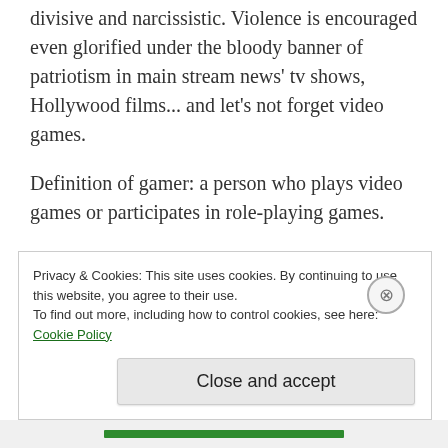divisive and narcissistic. Violence is encouraged even glorified under the bloody banner of patriotism in main stream news' tv shows, Hollywood films... and let's not forget video games.
Definition of gamer: a person who plays video games or participates in role-playing games.
According to statistics as of July 2018 there were 2.2 billion gamers in the world... are you shocked? I was.
Privacy & Cookies: This site uses cookies. By continuing to use this website, you agree to their use.
To find out more, including how to control cookies, see here: Cookie Policy
Close and accept